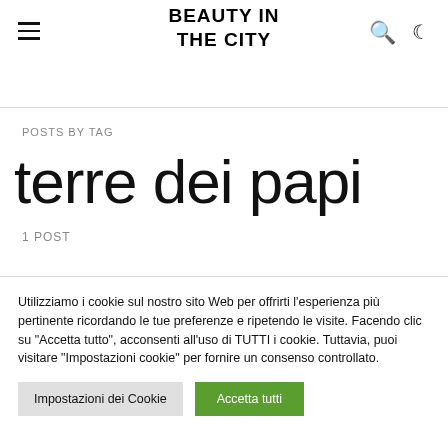BEAUTY IN THE CITY
POSTS BY TAG
terre dei papi
1 POST
Utilizziamo i cookie sul nostro sito Web per offrirti l'esperienza più pertinente ricordando le tue preferenze e ripetendo le visite. Facendo clic su "Accetta tutto", acconsenti all'uso di TUTTI i cookie. Tuttavia, puoi visitare "Impostazioni cookie" per fornire un consenso controllato.
Impostazioni dei Cookie | Accetta tutti